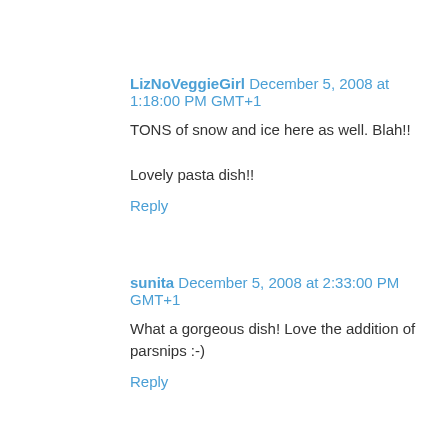LizNoVeggieGirl December 5, 2008 at 1:18:00 PM GMT+1
TONS of snow and ice here as well. Blah!!
Lovely pasta dish!!
Reply
sunita December 5, 2008 at 2:33:00 PM GMT+1
What a gorgeous dish! Love the addition of parsnips :-)
Reply
Susan from Food Blogga December 5, 2008 at 3:34:00 PM GMT+1
Parsnips in gnocchi? Now that's ingenious, Meeta. :)
Reply